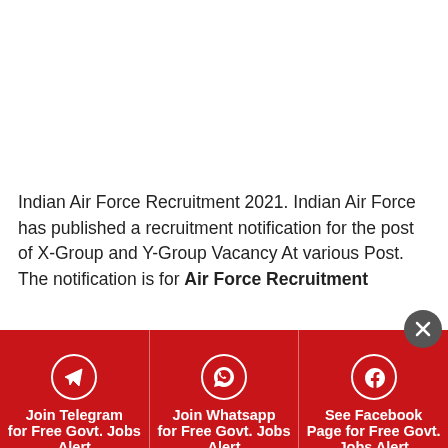Indian Air Force Recruitment 2021. Indian Air Force has published a recruitment notification for the post of X-Group and Y-Group Vacancy At various Post. The notification is for Air Force Recruitment
[Figure (infographic): Red banner with three columns: Join Telegram for Free Govt. Jobs Alert, Join Whatsapp for Free Govt. Jobs Alert, See Facebook Page for Free Govt. Jobs Alert. Close button (X) in dark circle at top right of banner.]
apply through the official website before its Last Date 07 February 2021. Other Details Like Age